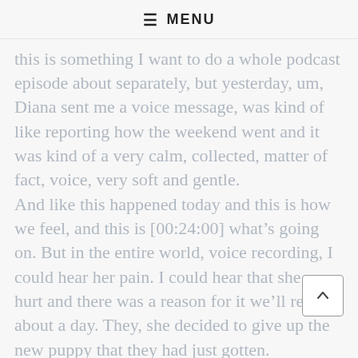≡ MENU
this is something I want to do a whole podcast episode about separately, but yesterday, um, Diana sent me a voice message, was kind of like reporting how the weekend went and it was kind of a very calm, collected, matter of fact, voice, very soft and gentle.
And like this happened today and this is how we feel, and this is [00:24:00] what's going on. But in the entire world, voice recording, I could hear her pain. I could hear that she was hurt and there was a reason for it we'll record about a day. They, she decided to give up the new puppy that they had just gotten.